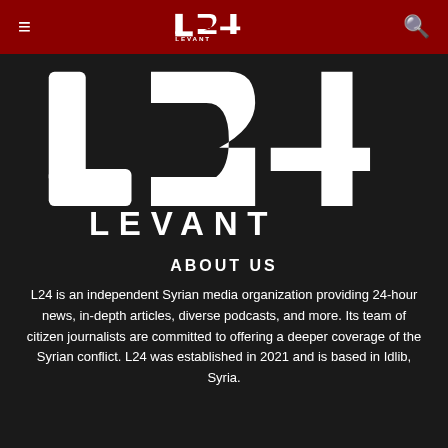L24 LEVANT — navigation bar with hamburger menu and search icon
[Figure (logo): L24 Levant large white logo on dark background — stylized 'L24' lettering with 'LEVANT' text beneath]
ABOUT US
L24 is an independent Syrian media organization providing 24-hour news, in-depth articles, diverse podcasts, and more. Its team of citizen journalists are committed to offering a deeper coverage of the Syrian conflict. L24 was established in 2021 and is based in Idlib, Syria.